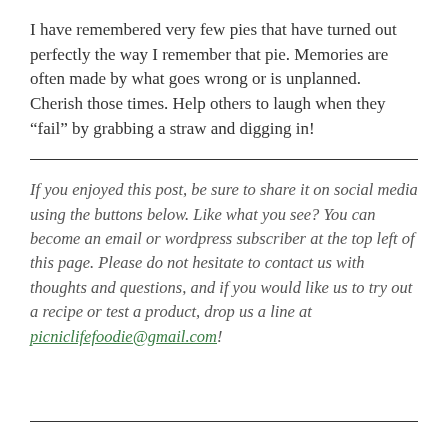I have remembered very few pies that have turned out perfectly the way I remember that pie. Memories are often made by what goes wrong or is unplanned. Cherish those times. Help others to laugh when they “fail” by grabbing a straw and digging in!
If you enjoyed this post, be sure to share it on social media using the buttons below. Like what you see? You can become an email or wordpress subscriber at the top left of this page. Please do not hesitate to contact us with thoughts and questions, and if you would like us to try out a recipe or test a product, drop us a line at picniclifefoodie@gmail.com!